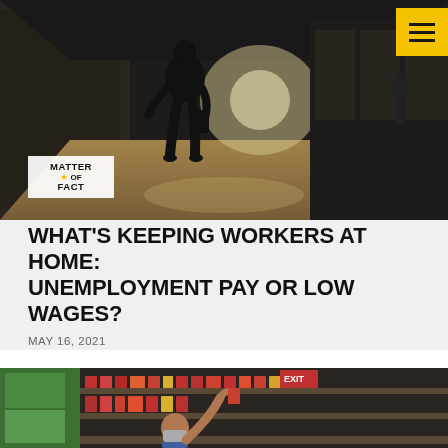[Figure (photo): Person silhouetted in a dark hallway holding a spray bottle, walking away from camera. Matter of Fact logo overlay in bottom left corner.]
WHAT'S KEEPING WORKERS AT HOME: UNEMPLOYMENT PAY OR LOW WAGES?
MAY 16, 2021
[Figure (photo): Person wearing a face mask reaching up to stock shelves in a grocery store with an EXIT sign visible in the background.]